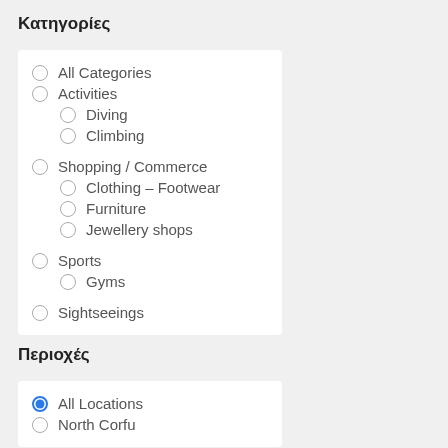Κατηγορίες
All Categories
Activities
Diving
Climbing
Shopping / Commerce
Clothing – Footwear
Furniture
Jewellery shops
Sports
Gyms
Sightseeings
Περιοχές
All Locations
North Corfu